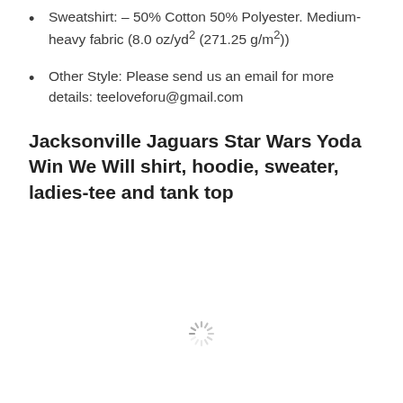Sweatshirt: – 50% Cotton 50% Polyester. Medium-heavy fabric (8.0 oz/yd² (271.25 g/m²))
Other Style: Please send us an email for more details: teeloveforu@gmail.com
Jacksonville Jaguars Star Wars Yoda Win We Will shirt, hoodie, sweater, ladies-tee and tank top
[Figure (other): Loading spinner graphic centered near bottom of page]